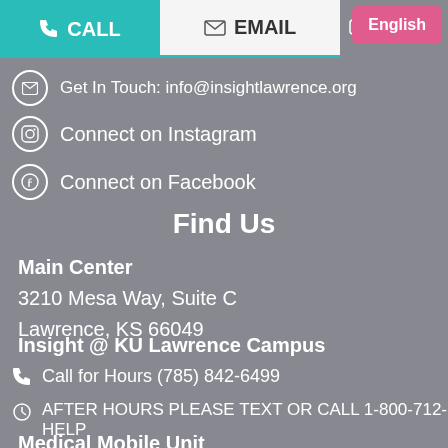CALL | EMAIL | TEXT
Get In Touch: info@insightlawrence.org
Connect on Instagram
Connect on Facebook
Find Us
Main Center
3210 Mesa Way, Suite C
Lawrence, KS 66049
Insight @ KU Lawrence Campus
Call for Hours (785) 842-6499
AFTER HOURS PLEASE TEXT OR CALL 1-800-712-HELP
Medical Mobile Unit
Call for Hours and Locations (785) 842-6499